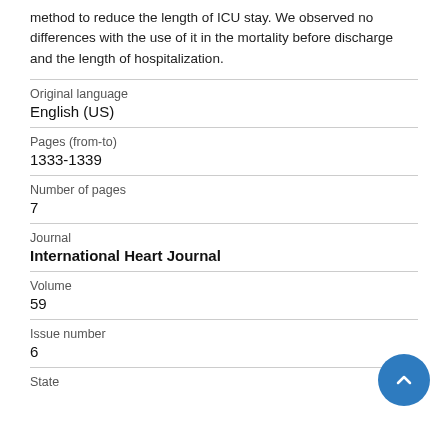method to reduce the length of ICU stay. We observed no differences with the use of it in the mortality before discharge and the length of hospitalization.
| Field | Value |
| --- | --- |
| Original language | English (US) |
| Pages (from-to) | 1333-1339 |
| Number of pages | 7 |
| Journal | International Heart Journal |
| Volume | 59 |
| Issue number | 6 |
| State |  |